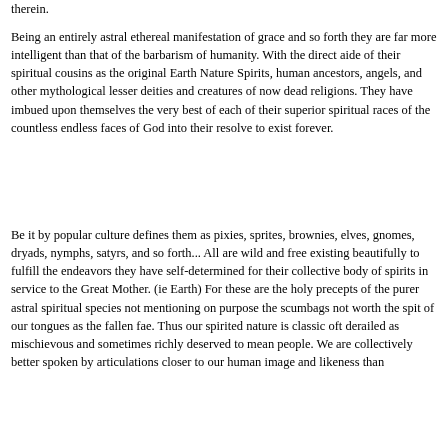therein.
Being an entirely astral ethereal manifestation of grace and so forth they are far more intelligent than that of the barbarism of humanity. With the direct aide of their spiritual cousins as the original Earth Nature Spirits, human ancestors, angels, and other mythological lesser deities and creatures of now dead religions. They have imbued upon themselves the very best of each of their superior spiritual races of the countless endless faces of God into their resolve to exist forever.
Be it by popular culture defines them as pixies, sprites, brownies, elves, gnomes, dryads, nymphs, satyrs, and so forth... All are wild and free existing beautifully to fulfill the endeavors they have self-determined for their collective body of spirits in service to the Great Mother. (ie Earth) For these are the holy precepts of the purer astral spiritual species not mentioning on purpose the scumbags not worth the spit of our tongues as the fallen fae. Thus our spirited nature is classic oft derailed as mischievous and sometimes richly deserved to mean people. We are collectively better spoken by articulations closer to our human image and likeness than